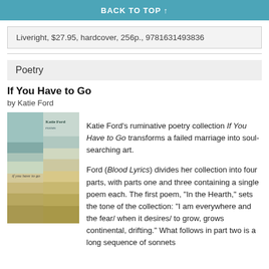BACK TO TOP ↑
Liveright, $27.95, hardcover, 256p., 9781631493836
Poetry
If You Have to Go
by Katie Ford
[Figure (photo): Book cover of 'If You Have to Go' by Katie Ford showing muted teal and tan layered landscape with cursive title text]
Katie Ford's ruminative poetry collection If You Have to Go transforms a failed marriage into soul-searching art.

Ford (Blood Lyrics) divides her collection into four parts, with parts one and three containing a single poem each. The first poem, "In the Hearth," sets the tone of the collection: "I am everywhere and the fear/ when it desires/ to grow, grows continental, drifting." What follows in part two is a long sequence of sonnets